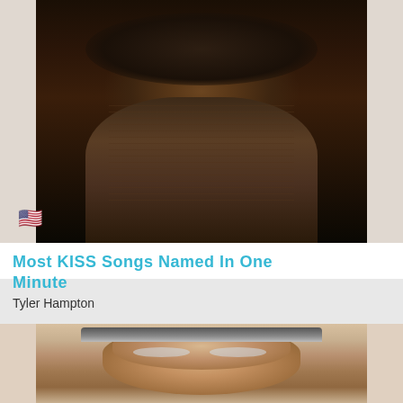[Figure (photo): A man wearing a wide-brim hat and glasses holding a microphone, performing on stage in a dark setting. A US flag emoji badge is visible in the lower left.]
Most KISS Songs Named In One Minute
Tyler Hampton
[Figure (photo): A bald man with round glasses and a goatee speaking, photographed from the front in an indoor setting with white walls.]